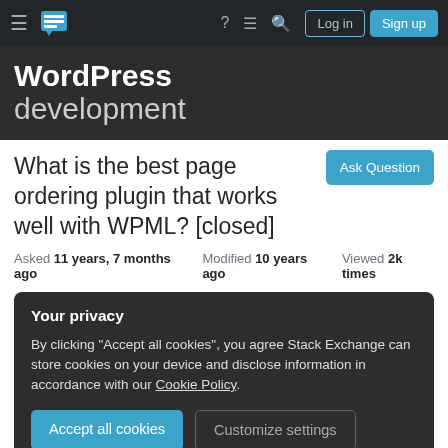WordPress development — Stack Exchange navigation bar with Log in and Sign up buttons
WordPress development
Ask Question
What is the best page ordering plugin that works well with WPML? [closed]
Asked 11 years, 7 months ago   Modified 10 years ago   Viewed 2k times
Your privacy
By clicking "Accept all cookies", you agree Stack Exchange can store cookies on your device and disclose information in accordance with our Cookie Policy.
Accept all cookies   Customize settings
resource is out of scope for this site, as it attracts